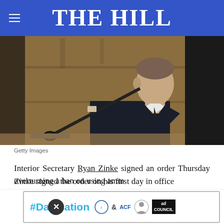THE HILL
[Figure (photo): A man in a dark suit sitting at a hearing table with a microphone, viewed in profile, in a wood-paneled room.]
Getty Images
Interior Secretary Ryan Zinke signed an order Thursday overturning a ban on using amm
Zinke signed the order on his first day in office